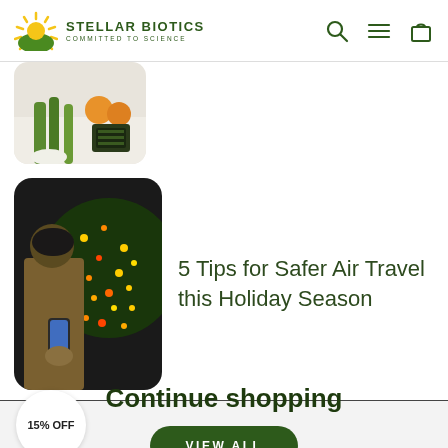STELLAR BIOTICS COMMITTED TO SCIENCE
[Figure (photo): Partially visible thumbnail of food items including leeks, oranges, and seaweed on a white surface]
[Figure (photo): Person in brown jacket looking at phone near a decorated Christmas tree with colorful lights]
5 Tips for Safer Air Travel this Holiday Season
15% OFF
Continue shopping
VIEW ALL